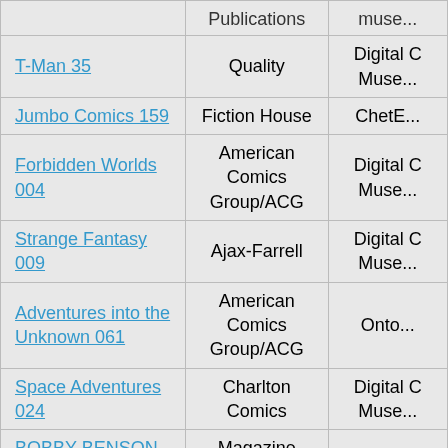| Title | Publisher | Source |
| --- | --- | --- |
| Publications |  | muse... |
| T-Man 35 | Quality | Digital C Muse... |
| Jumbo Comics 159 | Fiction House | ChetE... |
| Forbidden Worlds 004 | American Comics Group/ACG | Digital C Muse... |
| Strange Fantasy 009 | Ajax-Farrell | Digital C Muse... |
| Adventures into the Unknown 061 | American Comics Group/ACG | Onto... |
| Space Adventures 024 | Charlton Comics | Digital C Muse... |
| BOBBY BENSON 003 (inc) -fixed | Magazine Enterprises | prime... |
| Fantastic Comics 022 (paper+5fiche)-c2c - JVJ+OE -fixed | Fox Feature Syndicate | prime... |